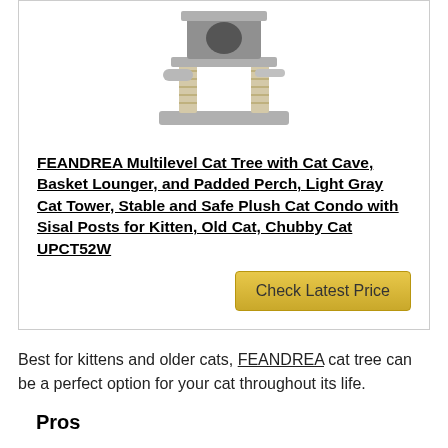[Figure (photo): Gray multilevel cat tree with cat cave, basket lounger, sisal posts, and padded perch]
FEANDREA Multilevel Cat Tree with Cat Cave, Basket Lounger, and Padded Perch, Light Gray Cat Tower, Stable and Safe Plush Cat Condo with Sisal Posts for Kitten, Old Cat, Chubby Cat UPCT52W
Check Latest Price
Best for kittens and older cats, FEANDREA cat tree can be a perfect option for your cat throughout its life.
Pros